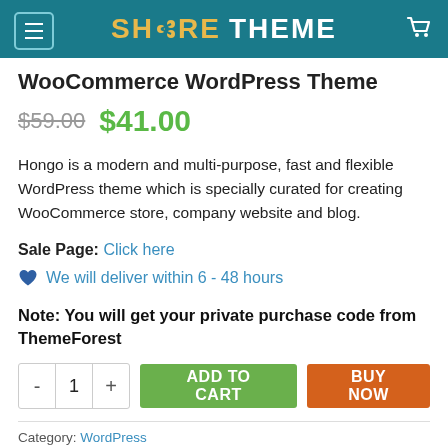SHARE THEME
WooCommerce WordPress Theme
$59.00  $41.00
Hongo is a modern and multi-purpose, fast and flexible WordPress theme which is specially curated for creating WooCommerce store, company website and blog.
Sale Page: Click here
We will deliver within 6 - 48 hours
Note: You will get your private purchase code from ThemeForest
- 1 +  ADD TO CART  BUY NOW
Category: WordPress